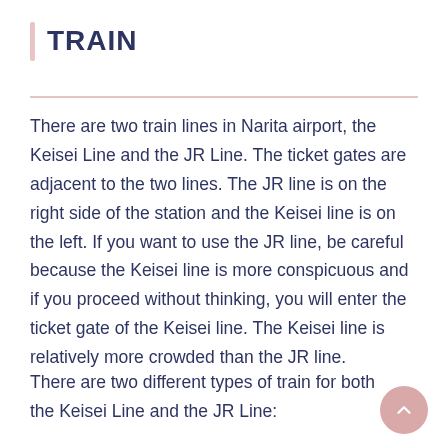TRAIN
There are two train lines in Narita airport, the Keisei Line and the JR Line. The ticket gates are adjacent to the two lines. The JR line is on the right side of the station and the Keisei line is on the left. If you want to use the JR line, be careful because the Keisei line is more conspicuous and if you proceed without thinking, you will enter the ticket gate of the Keisei line. The Keisei line is relatively more crowded than the JR line.
There are two different types of train for both the Keisei Line and the JR Line: